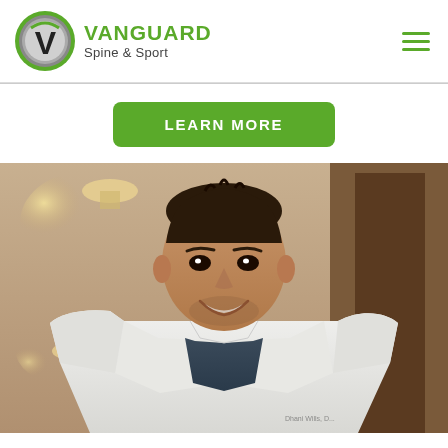[Figure (logo): Vanguard Spine & Sport logo with a circular V emblem in gray and green, and the brand name in green bold uppercase text with 'Spine & Sport' subtitle in gray.]
LEARN MORE
[Figure (photo): A smiling male doctor wearing a white lab coat over dark scrubs, standing in a medical office setting with warm lighting.]